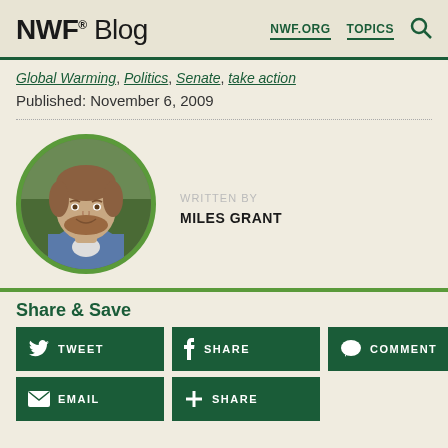NWF® Blog   NWF.ORG   TOPICS
Global Warming, Politics, Senate, take action
Published: November 6, 2009
[Figure (photo): Circular headshot photo of Miles Grant, a man with short brown hair and a beard, smiling, wearing a plaid shirt, with green outdoor background]
WRITTEN BY
MILES GRANT
Share & Save
TWEET   SHARE   COMMENT   EMAIL   SHARE